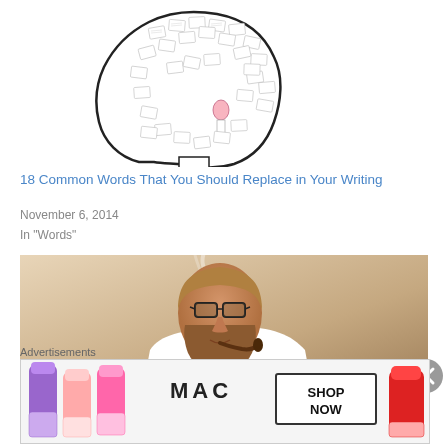[Figure (illustration): Line art illustration of a human head profile filled with many small paper documents/notes, with a small person figure inside, representing overthinking or information overload.]
18 Common Words That You Should Replace in Your Writing
November 6, 2014
In "Words"
[Figure (photo): Photo of a young bearded man wearing glasses, suspenders, and a bow tie, smoking a pipe while typing on a typewriter, against a beige background.]
[Figure (illustration): Advertisement banner for MAC cosmetics showing lipsticks on the left side with MAC logo and SHOP NOW button in a box on the right.]